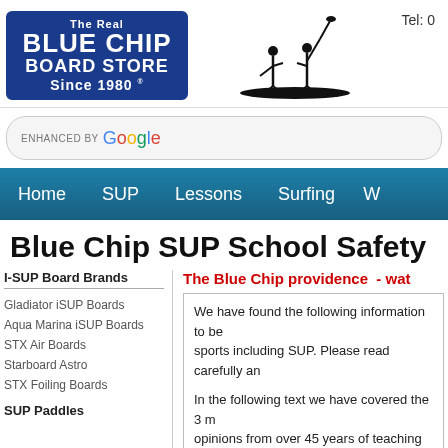[Figure (logo): The Real Blue Chip Board Store Since 1980 logo in blue rectangle, with SUP silhouette and Tel: 0...]
ENHANCED BY Google
[Figure (screenshot): Navigation bar with Home, SUP, Lessons, Surfing menu items on teal background]
Blue Chip SUP School Safety
I-SUP Board Brands
The Blue Chip providence  - wat
Gladiator iSUP Boards
Aqua Marina iSUP Boards
STX Air Boards
Starboard Astro
STX Foiling Boards
SUP Paddles
We have found the following information to be sports including SUP. Please read carefully an
In the following text we have covered the 3 m opinions from over 45 years of teaching vario
1. Wearing of leashes regarding SUP